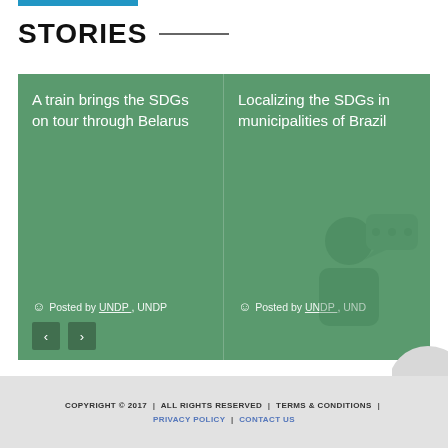STORIES
A train brings the SDGs on tour through Belarus
Posted by UNDP , UNDP
Localizing the SDGs in municipalities of Brazil
Posted by UNDP , UNDP
View All
COPYRIGHT © 2017 | ALL RIGHTS RESERVED | TERMS & CONDITIONS | PRIVACY POLICY | CONTACT US